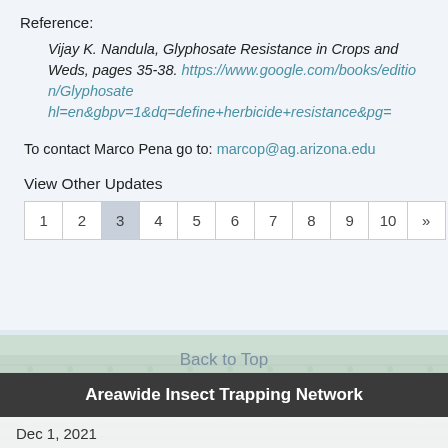Reference:
Vijay K. Nandula, Glyphosate Resistance in Crops and Weds, pages 35-38. https://www.google.com/books/edition/Glyphosate hl=en&gbpv=1&dq=define+herbicide+resistance&pg=
To contact Marco Pena go to: marcop@ag.arizona.edu
View Other Updates
| 1 | 2 | 3 | 4 | 5 | 6 | 7 | 8 | 9 | 10 | » |
Back to Top
[Figure (photo): Aerial view of a farm field with rows of crops]
Areawide Insect Trapping Network
Dec 1, 2021